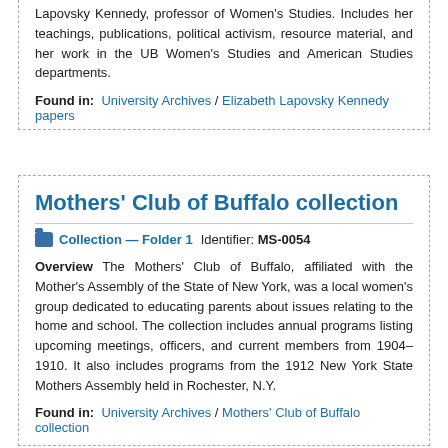Lapovsky Kennedy, professor of Women's Studies. Includes her teachings, publications, political activism, resource material, and her work in the UB Women's Studies and American Studies departments.
Found in: University Archives / Elizabeth Lapovsky Kennedy papers
Mothers' Club of Buffalo collection
Collection — Folder 1  Identifier: MS-0054
Overview The Mothers' Club of Buffalo, affiliated with the Mother's Assembly of the State of New York, was a local women's group dedicated to educating parents about issues relating to the home and school. The collection includes annual programs listing upcoming meetings, officers, and current members from 1904-1910. It also includes programs from the 1912 New York State Mothers Assembly held in Rochester, N.Y.
Found in: University Archives / Mothers' Club of Buffalo collection